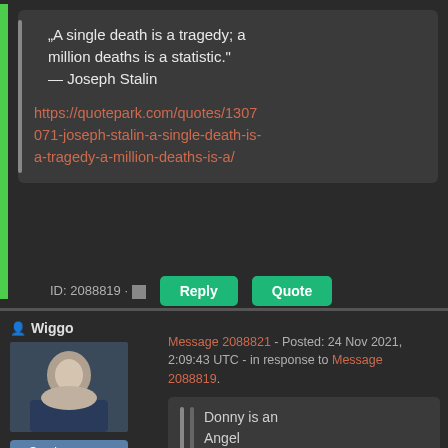„A single death is a tragedy; a million deaths is a statistic.” — Joseph Stalin
https://quotepark.com/quotes/1307071-joseph-stalin-a-single-death-is-a-tragedy-a-million-deaths-is-a/
ID: 2088819 · ■
Wiggo
Message 2088821 - Posted: 24 Nov 2021, 2:09:43 UTC - in response to Message 2088819.
Donny is an Angel